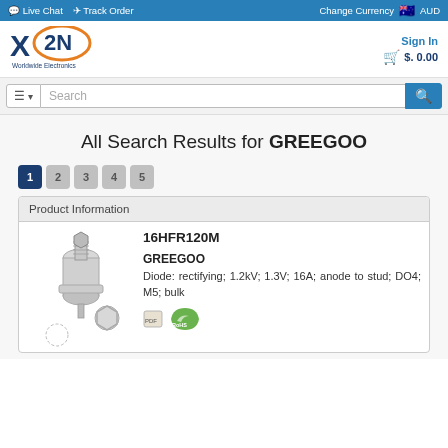Live Chat  Track Order  Change Currency AUD
[Figure (logo): X2N Worldwide Electronics logo]
Sign In  $. 0.00
Search
All Search Results for GREEGOO
1 2 3 4 5
Product Information
16HFR120M
[Figure (photo): Photo of 16HFR120M rectifying diode component]
GREEGOO
Diode: rectifying; 1.2kV; 1.3V; 16A; anode to stud; DO4; M5; bulk
[Figure (logo): RoHS compliance badge]